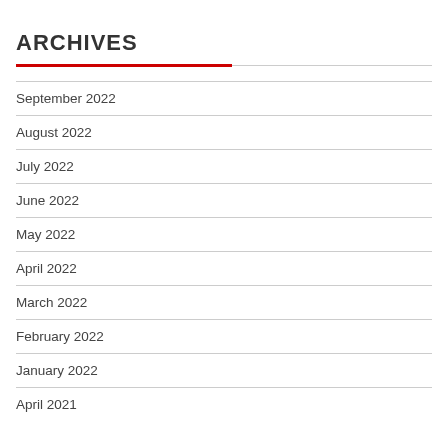ARCHIVES
September 2022
August 2022
July 2022
June 2022
May 2022
April 2022
March 2022
February 2022
January 2022
April 2021